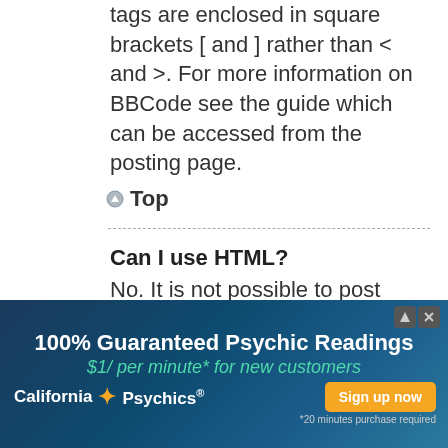tags are enclosed in square brackets [ and ] rather than < and >. For more information on BBCode see the guide which can be accessed from the posting page.
Top
Can I use HTML?
No. It is not possible to post HTML on this board and have it rendered as HTML. Most formatting which can be
[Figure (other): Advertisement banner for California Psychics: '100% Guaranteed Psychic Readings $1/ per minute* for new customers' with California Psychics logo and 'Sign up now' button. *20 minutes purchase required]